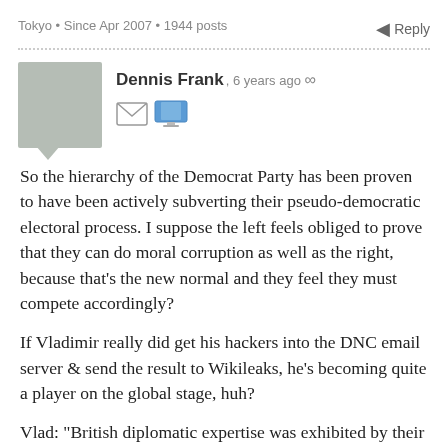Tokyo • Since Apr 2007 • 1944 posts
Dennis Frank, 6 years ago ∞
So the hierarchy of the Democrat Party has been proven to have been actively subverting their pseudo-democratic electoral process. I suppose the left feels obliged to prove that they can do moral corruption as well as the right, because that's the new normal and they feel they must compete accordingly?
If Vladimir really did get his hackers into the DNC email server & send the result to Wikileaks, he's becoming quite a player on the global stage, huh?
Vlad: "British diplomatic expertise was exhibited by their new government fronting with a guy called Boris. Now, if soul brother Donald changes his name to Igor, we'll all get on really well!"
Polls now indicate a resurgence for the soul